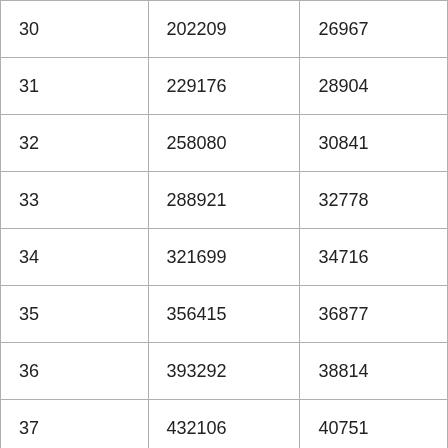| 30 | 202209 | 26967 |
| 31 | 229176 | 28904 |
| 32 | 258080 | 30841 |
| 33 | 288921 | 32778 |
| 34 | 321699 | 34716 |
| 35 | 356415 | 36877 |
| 36 | 393292 | 38814 |
| 37 | 432106 | 40751 |
| 38 | 472857 | 42689 |
| 39 | 515546 | 44626 |
| 40 | 560172 | 46066 |
| 41 | 606238 | 47768 |